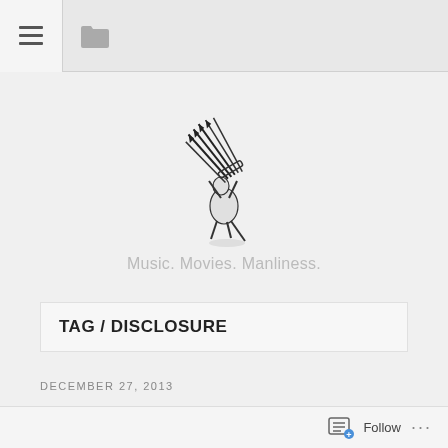Navigation bar with menu and folder icons
[Figure (logo): Sweeney blog logo: black and white illustration of a figure carrying a bundle of sticks, with the word SWEENEY in stylized text below]
Music. Movies. Manliness.
TAG / DISCLOSURE
DECEMBER 27, 2013
The Top 20 So...
Follow ...